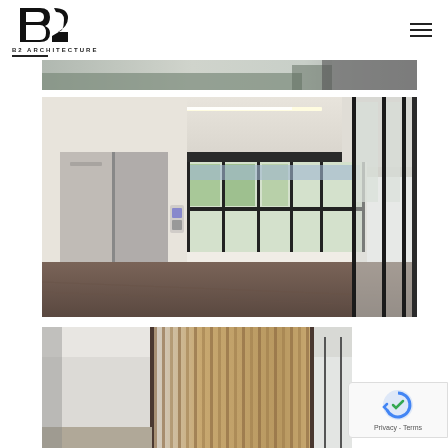[Figure (logo): B2 Architecture logo with stylized B2 letterform in black and 'B2 ARCHITECTURE' text below with horizontal rule]
[Figure (photo): Partial view of a building exterior street scene with motion blur]
[Figure (photo): Office interior showing stainless steel elevator doors on left, open plan office space with floor-to-ceiling black framed windows, carpeted floor, recessed linear lighting in ceiling, and glass partition walls on right]
[Figure (photo): Partial view of an interior space with wood slat paneling and framed glass partitions]
[Figure (other): Google reCAPTCHA badge showing reCAPTCHA logo and Privacy - Terms text]